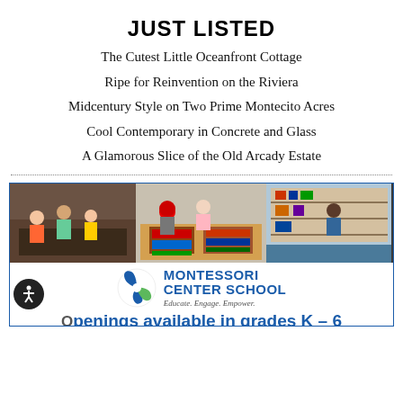JUST LISTED
The Cutest Little Oceanfront Cottage
Ripe for Reinvention on the Riviera
Midcentury Style on Two Prime Montecito Acres
Cool Contemporary in Concrete and Glass
A Glamorous Slice of the Old Arcady Estate
[Figure (photo): Advertisement for Montessori Center School. Top: classroom photo with children wearing masks working at tables with educational materials. Bottom: school logo with circular swoosh graphic, school name 'MONTESSORI CENTER SCHOOL', tagline 'Educate. Engage. Empower.', text 'Openings available in grades K – 6', and 'LOW STUDENT-TO-TEACHER RATIOS • DYNAMIC HANDS-ON CURRICULUM']